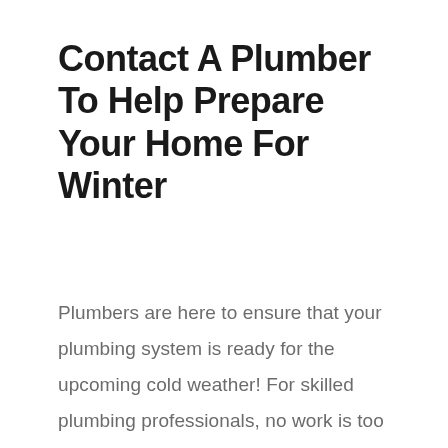Contact A Plumber To Help Prepare Your Home For Winter
Plumbers are here to ensure that your plumbing system is ready for the upcoming cold weather! For skilled plumbing professionals, no work is too large or too little. To take care of those annoying plumbing problems, give one a